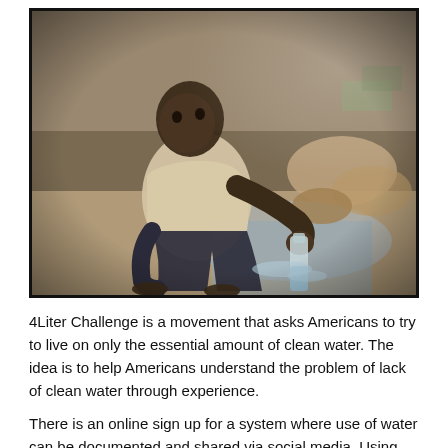[Figure (photo): A young African child crouching outdoors near muddy water, collecting water in a plastic bottle. The background shows rocky, debris-strewn ground.]
4Liter Challenge is a movement that asks Americans to try to live on only the essential amount of clean water. The idea is to help Americans understand the problem of lack of clean water through experience.
There is an online sign up for a system where use of water can be documented and shared via social media. Using social media helps the organization to spread awareness for clean water globally. During the challenge, participants must try to live on only 4 liters (about one gallon) of water a day for up to five days. The